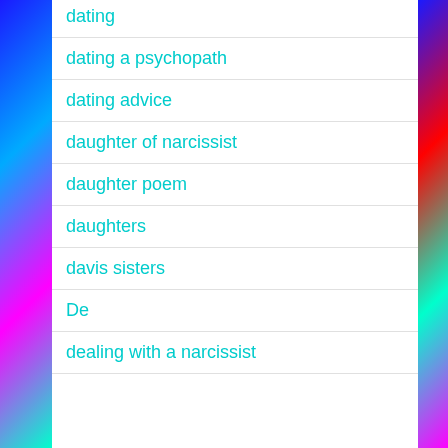dating
dating a psychopath
dating advice
daughter of narcissist
daughter poem
daughters
davis sisters
De
dealing with a narcissist